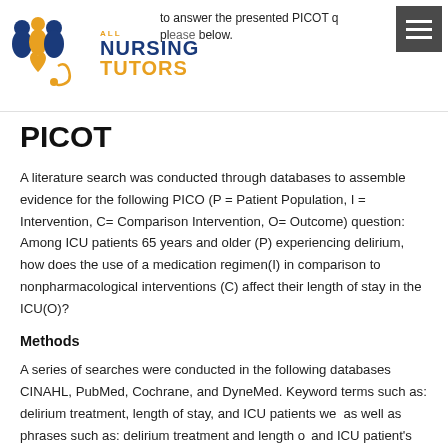All Nursing Tutors logo and navigation header
PICOT
A literature search was conducted through databases to assemble evidence for the following PICO (P = Patient Population, I = Intervention, C= Comparison Intervention, O= Outcome) question:  Among ICU patients 65 years and older (P) experiencing delirium, how does the use of a medication regimen(I) in comparison to nonpharmacological interventions (C) affect their length of stay in the ICU(O)?
Methods
A series of searches were conducted in the following databases CINAHL, PubMed, Cochrane, and DyneMed. Keyword terms such as: delirium treatment, length of stay, and ICU patients we as well as phrases such as: delirium treatment and length o and ICU patient's delirium treatment length of stay. The